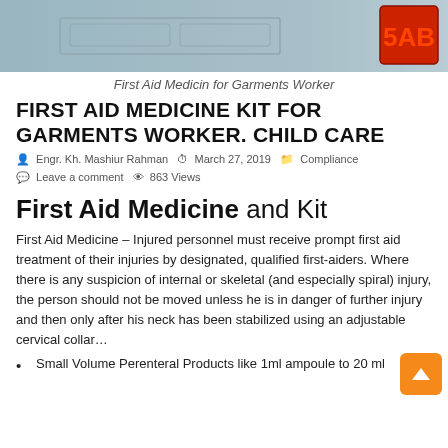[Figure (photo): Header image of a wall/door surface with a red illuminated logo/badge on the right side]
First Aid Medicin for Garments Worker
FIRST AID MEDICINE KIT FOR GARMENTS WORKER. CHILD CARE
Engr. Kh. Mashiur Rahman   March 27, 2019   Compliance   Leave a comment   863 Views
First Aid Medicine and Kit
First Aid Medicine – Injured personnel must receive prompt first aid treatment of their injuries by designated, qualified first-aiders. Where there is any suspicion of internal or skeletal (and especially spiral) injury, the person should not be moved unless he is in danger of further injury and then only after his neck has been stabilized using an adjustable cervical collar…
Small Volume Perenteral Products like 1ml ampoule to 20 ml